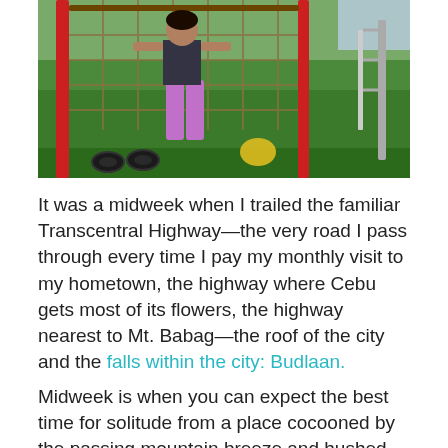[Figure (photo): A woman in purple pants and dark top standing on a rope/net climbing structure with red poles, surrounded by lush green vegetation; tires visible on the ground in the background.]
It was a midweek when I trailed the familiar Transcentral Highway—the very road I pass through every time I pay my monthly visit to my hometown, the highway where Cebu gets most of its flowers, the highway nearest to Mt. Babag—the roof of the city and the falls within the city: Budlaan.
Midweek is when you can expect the best time for solitude from a place cocooned by the passing mountain breeze and hushed ranges. Midweek is